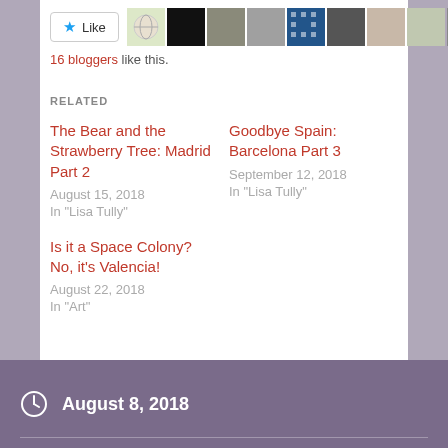[Figure (screenshot): Like button with star icon and several blogger avatar thumbnails]
16 bloggers like this.
RELATED
The Bear and the Strawberry Tree: Madrid Part 2
August 15, 2018
In "Lisa Tully"
Goodbye Spain: Barcelona Part 3
September 12, 2018
In "Lisa Tully"
Is it a Space Colony? No, it's Valencia!
August 22, 2018
In "Art"
August 8, 2018